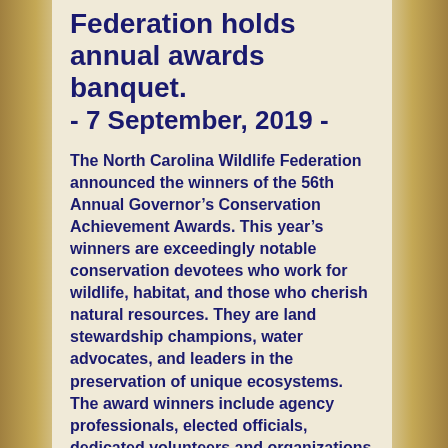Federation holds annual awards banquet. - 7 September, 2019 -
The North Carolina Wildlife Federation announced the winners of the 56th Annual Governor’s Conservation Achievement Awards. This year’s winners are exceedingly notable conservation devotees who work for wildlife, habitat, and those who cherish natural resources. They are land stewardship champions, water advocates, and leaders in the preservation of unique ecosystems. The award winners include agency professionals, elected officials, dedicated volunteers and organizations rising to the challenge.